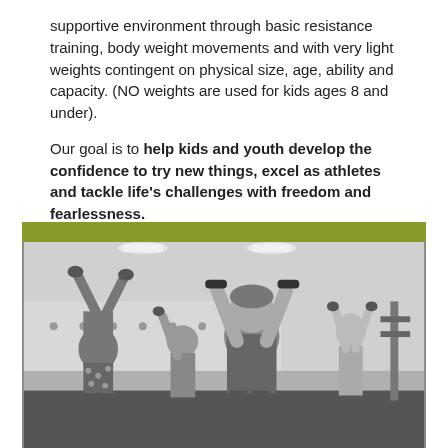supportive environment through basic resistance training, body weight movements and with very light weights contingent on physical size, age, ability and capacity. (NO weights are used for kids ages 8 and under).
Our goal is to help kids and youth develop the confidence to try new things, excel as athletes and tackle life's challenges with freedom and fearlessness.
[Figure (photo): Black and white photograph of children in a gym lifting dumbbells overhead, with a young boy in the foreground raising weights above his head. Several other children are visible in the background doing the same exercise. The gym has high ceilings with track lighting. An olive/yellow-green banner bar appears at the top of the image.]